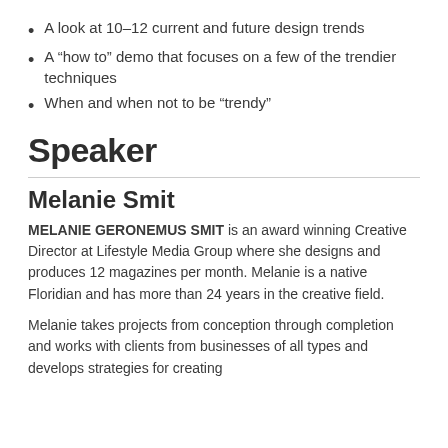A look at 10–12 current and future design trends
A “how to” demo that focuses on a few of the trendier techniques
When and when not to be “trendy”
Speaker
Melanie Smit
MELANIE GERONEMUS SMIT is an award winning Creative Director at Lifestyle Media Group where she designs and produces 12 magazines per month. Melanie is a native Floridian and has more than 24 years in the creative field.
Melanie takes projects from conception through completion and works with clients from businesses of all types and develops strategies for creating